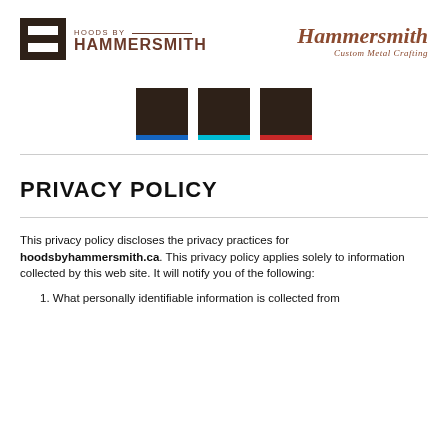[Figure (logo): Hoods by Hammersmith logo on the left (icon with H and text) and Hammersmith Custom Metal Crafting logo on the right]
[Figure (infographic): Three dark brown color swatches side by side, each with a colored accent stripe at the bottom: blue, cyan, and red]
PRIVACY POLICY
This privacy policy discloses the privacy practices for hoodsbyhammersmith.ca. This privacy policy applies solely to information collected by this web site. It will notify you of the following:
1. What personally identifiable information is collected from